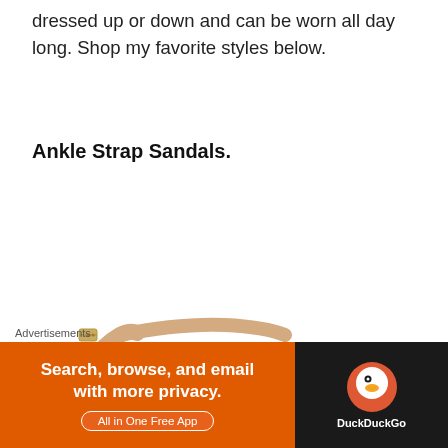dressed up or down and can be worn all day long. Shop my favorite styles below.
Ankle Strap Sandals.
[Figure (photo): Orange and tan leather ankle strap sandal, flat sole, shown from the side]
[Figure (photo): White leather ankle strap sandal with buckle, partial view]
Advertisements
[Figure (other): DuckDuckGo advertisement banner: 'Search, browse, and email with more privacy. All in One Free App' with DuckDuckGo logo on dark background]